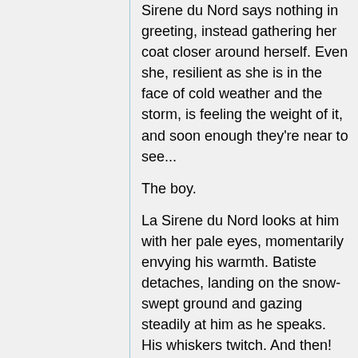Sirene du Nord says nothing in greeting, instead gathering her coat closer around herself. Even she, resilient as she is in the face of cold weather and the storm, is feeling the weight of it, and soon enough they're near to see...
The boy.
La Sirene du Nord looks at him with her pale eyes, momentarily envying his warmth. Batiste detaches, landing on the snow-swept ground and gazing steadily at him as he speaks. His whiskers twitch. And then!
Cure Peace dives inwards, and a moment later so does Mai Tokiha. Batiste gives the Pretty Cure a look, but when he ducks downwards and starts motoring over the icy ground, it is Mai to whom he runs.